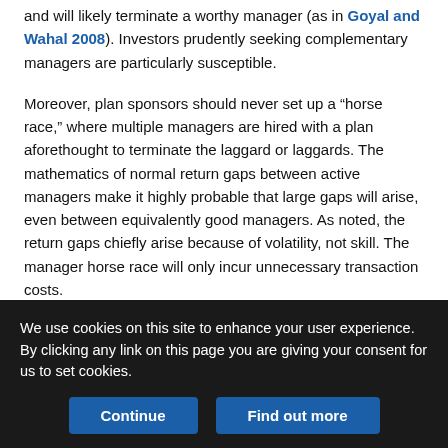and will likely terminate a worthy manager (as in Goyal and Wahal 2008). Investors prudently seeking complementary managers are particularly susceptible.
Moreover, plan sponsors should never set up a “horse race,” where multiple managers are hired with a plan aforethought to terminate the laggard or laggards. The mathematics of normal return gaps between active managers make it highly probable that large gaps will arise, even between equivalently good managers. As noted, the return gaps chiefly arise because of volatility, not skill. The manager horse race will only incur unnecessary transaction costs.
Long–short investing. Long–short investing can be viewed as a
We use cookies on this site to enhance your user experience. By clicking any link on this page you are giving your consent for us to set cookies.